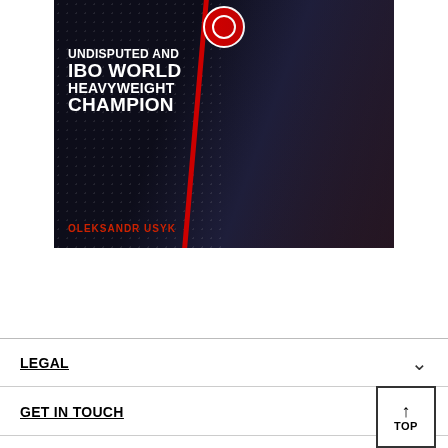[Figure (photo): Promotional image for boxer Oleksandr Usyk with text 'UNDISPUTED AND IBO WORLD HEAVYWEIGHT CHAMPION' on dark background with championship belts]
LEGAL
GET IN TOUCH
WHO WE ARE